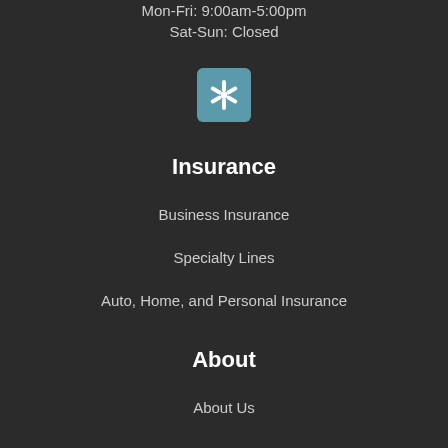Mon-Fri: 9:00am-5:00pm
Sat-Sun: Closed
[Figure (logo): Yelp logo icon — teal/blue square with white asterisk/star symbol]
Insurance
Business Insurance
Specialty Lines
Auto, Home, and Personal Insurance
About
About Us